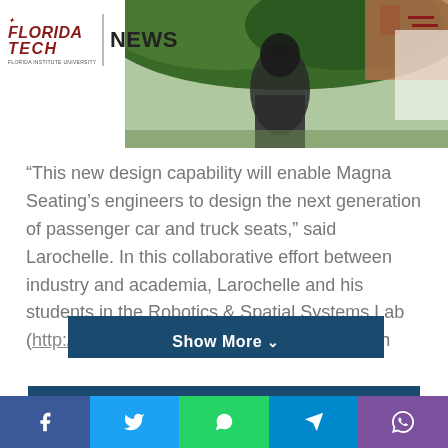[Figure (screenshot): Florida Tech News website header with logo on white background on the left, and a photo of outdoor statue and greenery on the right. Hamburger menu icon in top right.]
“This new design capability will enable Magna Seating’s engineers to design the next generation of passenger car and truck seats,” said Larochelle. In this collaborative effort between industry and academia, Larochelle and his students in the Robotics & Spatial Systems Lab (http://research.fit.edu/rassl/) are working with Ron
Show More ⌄
RELATED ARTICLES
[Figure (screenshot): Social share bar with Facebook, Twitter, WhatsApp, Telegram, and Viber buttons]